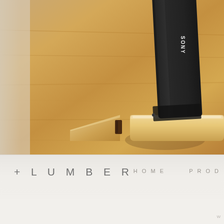[Figure (photo): Close-up photograph of a Sony tablet or smartphone inserted into a smooth wooden stand/dock on a wooden table surface. The wooden dock is a pale natural wood color with rounded edges, and has a slot cut into it to hold the device upright at an angle.]
+ LUMBER
HOME
PROD